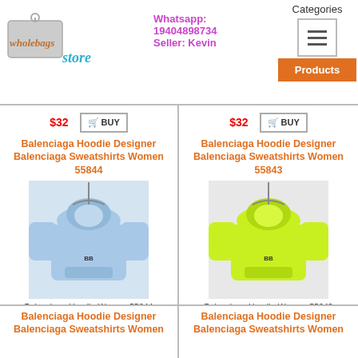Wholebags Store | Whatsapp: 19404898734 | Seller: Kevin | Categories | Products
[Figure (photo): Light blue Balenciaga hoodie sweatshirt on hanger]
Balenciaga Hoodie Designer Balenciaga Sweatshirts Women 55844
Balenciaga-Hoodie-Women-55844
$32
[Figure (photo): Neon yellow/green Balenciaga hoodie sweatshirt on hanger]
Balenciaga Hoodie Designer Balenciaga Sweatshirts Women 55843
Balenciaga-Hoodie-Women-55843
$32
Balenciaga Hoodie Designer Balenciaga Sweatshirts Women
Balenciaga Hoodie Designer Balenciaga Sweatshirts Women